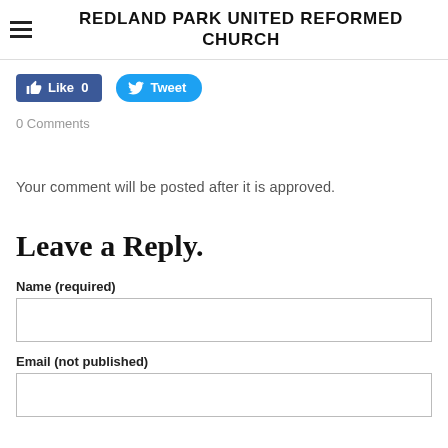REDLAND PARK UNITED REFORMED CHURCH
[Figure (screenshot): Facebook Like button showing '0' likes and Twitter Tweet button]
0 Comments
Your comment will be posted after it is approved.
Leave a Reply.
Name (required)
Email (not published)